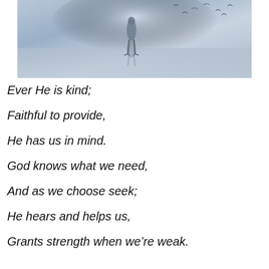[Figure (photo): A bird or figure standing in water or on a reflective surface, with birds flying in the background against a blue-gray sky. The image appears misty and atmospheric.]
Ever He is kind;
Faithful to provide,
He has us in mind.
God knows what we need,
And as we choose seek;
He hears and helps us,
Grants strength when we're weak.